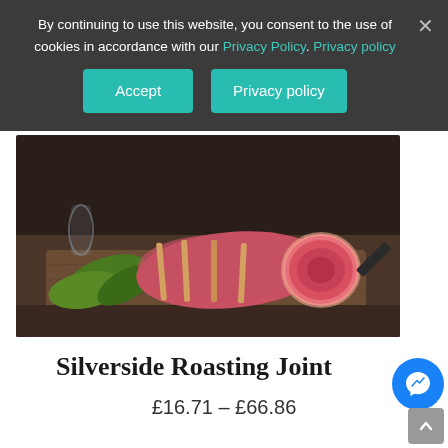By continuing to use this website, you consent to the use of cookies in accordance with our Privacy Policy. Privacy policy
[Figure (screenshot): Cookie consent banner with Accept and Privacy policy buttons on dark semi-transparent overlay, with X close button]
[Figure (photo): Silverside roasting joint beef tied with string on a wooden cutting board, with green herbs, dark background]
Silverside Roasting Joint
£16.71 – £66.86